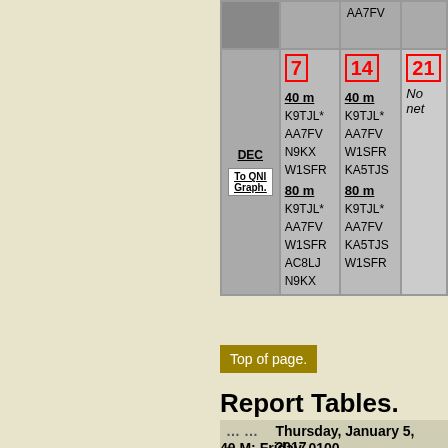| Month | 7 | 14 | 21 |
| --- | --- | --- | --- |
|  | AA7FV |  |  |
| DEC
To QNI Graph. | 40 m
K9TJL*
AA7FV
N9KX
W1SFR
80 m
K9TJL*
AA7FV
W1SFR
AC8LJ
N9KX | 40 m
K9TJL*
AA7FV
W1SFR
KA5TJS
80 m
K9TJL*
AA7FV
KA5TJS
W1SFR | No net |
Top of page.
Report Tables.
... ... –. Thursday, January 5, 2017.
40 M: Friday, 0100 -